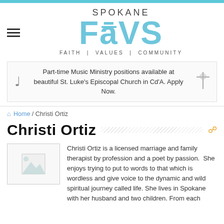[Figure (logo): Spokane FaVS logo with tagline FAITH | VALUES | COMMUNITY in light blue and gray]
Part-time Music Ministry positions available at beautiful St. Luke's Episcopal Church in Cd'A. Apply Now.
Home / Christi Ortiz
Christi Ortiz
Christi Ortiz is a licensed marriage and family therapist by profession and a poet by passion.  She enjoys trying to put to words to that which is wordless and give voice to the dynamic and wild spiritual journey called life. She lives in Spokane with her husband and two children. From each...